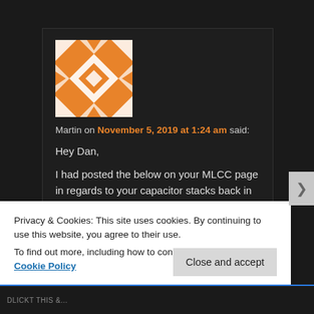[Figure (illustration): Orange and white geometric/quilt-pattern avatar square for user Martin]
Martin on November 5, 2019 at 1:24 am said:
Hey Dan,
I had posted the below on your MLCC page in regards to your capacitor stacks back in June/July and wasn't sure if you had seen it since you didn't reply. 😀

You should really check out the ebooks I linked for
Privacy & Cookies: This site uses cookies. By continuing to use this website, you agree to their use.
To find out more, including how to control cookies, see here: Cookie Policy